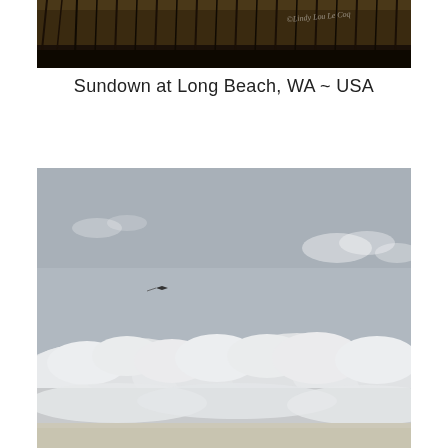[Figure (photo): Dark beach scene at sundown showing tall beach grass silhouetted against a dark sky with a watermark reading ©Lindy Lou Le Coq in the upper right corner.]
Sundown at Long Beach, WA ~ USA
[Figure (photo): Gray overcast sky with white cumulus clouds along the lower horizon and a small bird or kite visible in the upper-left area of the sky. The scene appears to be a beach environment with a thin strip of sand visible at the very bottom.]